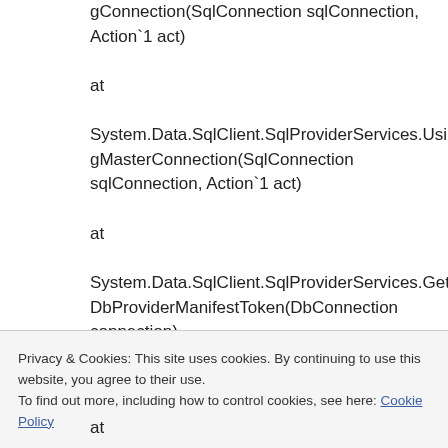gConnection(SqlConnection sqlConnection, Action`1 act)
at
System.Data.SqlClient.SqlProviderServices.UsingMasterConnection(SqlConnection sqlConnection, Action`1 act)
at
System.Data.SqlClient.SqlProviderServices.GetDbProviderManifestToken(DbConnection connection)
at
Privacy & Cookies: This site uses cookies. By continuing to use this website, you agree to their use.
To find out more, including how to control cookies, see here: Cookie Policy
at